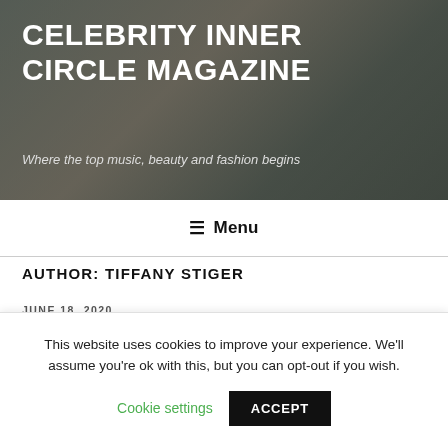[Figure (photo): Hero banner with blurred indoor plant background, dark overlay]
CELEBRITY INNER CIRCLE MAGAZINE
Where the top music, beauty and fashion begins
≡  Menu
AUTHOR: TIFFANY STIGER
JUNE 18, 2020
3 Of a Kind Upcoming Superstars
This website uses cookies to improve your experience. We'll assume you're ok with this, but you can opt-out if you wish.
Cookie settings   ACCEPT